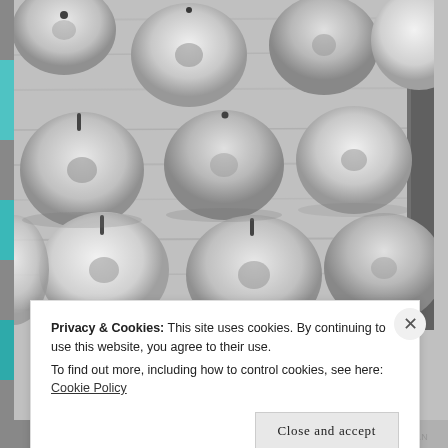[Figure (photo): Black and white overhead photograph of many apples arranged on a wooden surface, viewed from above showing their tops/stems]
Privacy & Cookies: This site uses cookies. By continuing to use this website, you agree to their use.
To find out more, including how to control cookies, see here: Cookie Policy
Close and accept